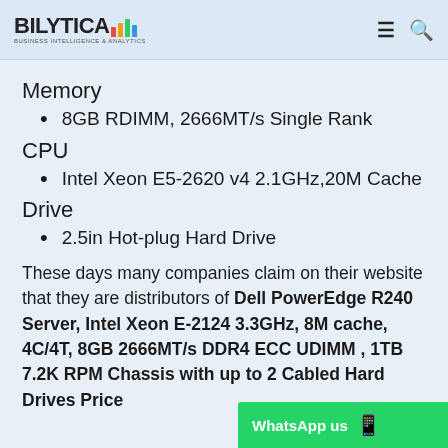BILYTICA - BUSINESS INTELLIGENCE & ANALYTICS
Memory
8GB RDIMM, 2666MT/s Single Rank
CPU
Intel Xeon E5-2620 v4 2.1GHz,20M Cache
Drive
2.5in Hot-plug Hard Drive
These days many companies claim on their website that they are distributors of Dell PowerEdge R240 Server, Intel Xeon E-2124 3.3GHz, 8M cache, 4C/4T, 8GB 2666MT/s DDR4 ECC UDIMM , 1TB 7.2K RPM Chassis with up to 2 Cabled Hard Drives Price